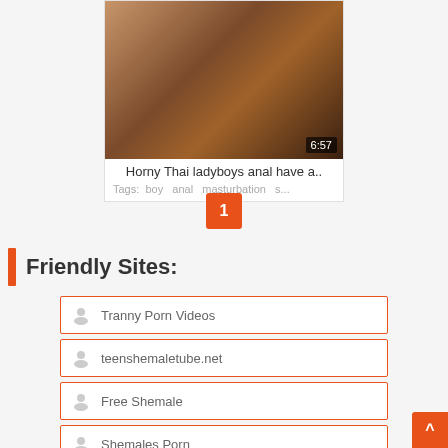[Figure (photo): Video thumbnail showing two people on a white background]
Horny Thai ladyboys anal have a..
Tags: boy  anal  masturbation  s...
1
Friendly Sites:
Tranny Porn Videos
teenshemaletube.net
Free Shemale
Shemales Porn
Shemale Teachers
Shemale XXX